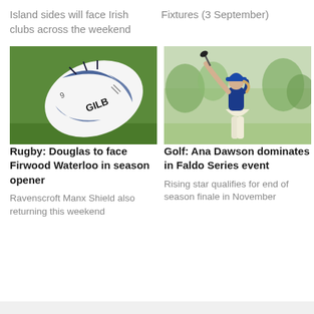Island sides will face Irish clubs across the weekend
Fixtures (3 September)
[Figure (photo): Close-up of a Gilbert rugby ball on grass]
[Figure (photo): Young woman golfer in blue top and white shorts swinging a golf club]
Rugby: Douglas to face Firwood Waterloo in season opener
Golf: Ana Dawson dominates in Faldo Series event
Ravenscroft Manx Shield also returning this weekend
Rising star qualifies for end of season finale in November